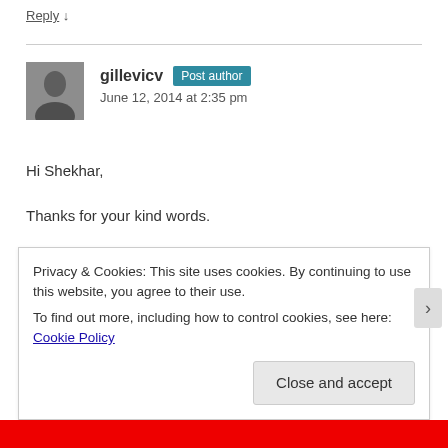Reply ↓
gillevicv Post author
June 12, 2014 at 2:35 pm
Hi Shekhar,
Thanks for your kind words.
Regarding implementation, OpenCV offers implementations of BRIEF, BRISK, ORB and FREAK. Implementations of
Privacy & Cookies: This site uses cookies. By continuing to use this website, you agree to their use.
To find out more, including how to control cookies, see here: Cookie Policy
Close and accept